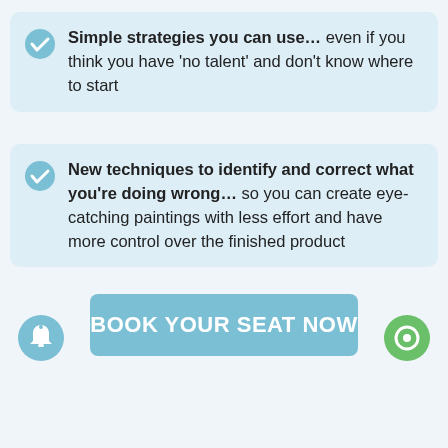Simple strategies you can use… even if you think you have 'no talent' and don't know where to start
New techniques to identify and correct what you're doing wrong… so you can create eye-catching paintings with less effort and have more control over the finished product
BOOK YOUR SEAT NOW